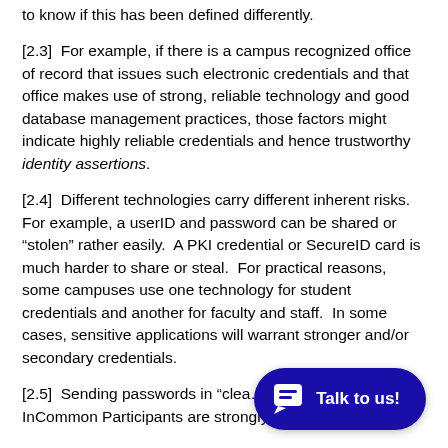to know if this has been defined differently.
[2.3]  For example, if there is a campus recognized office of record that issues such electronic credentials and that office makes use of strong, reliable technology and good database management practices, those factors might indicate highly reliable credentials and hence trustworthy identity assertions.
[2.4]  Different technologies carry different inherent risks. For example, a userID and password can be shared or “stolen” rather easily.  A PKI credential or SecureID card is much harder to share or steal.  For practical reasons, some campuses use one technology for student credentials and another for faculty and staff.  In some cases, sensitive applications will warrant stronger and/or secondary credentials.
[2.5]  Sending passwords in “clea... risk, and all InCommon Participants are strongly
[Figure (other): Chat widget button with speech bubble icon and text 'Talk to us!' on a dark blue rounded rectangle background]